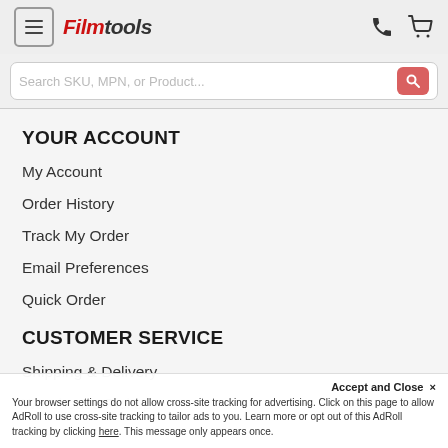Filmtools header with menu, logo, phone, and cart icons
Search SKU, MPN, or Product...
YOUR ACCOUNT
My Account
Order History
Track My Order
Email Preferences
Quick Order
CUSTOMER SERVICE
Shipping & Delivery
Warehouse Pickup
Accept and Close ×
Your browser settings do not allow cross-site tracking for advertising. Click on this page to allow AdRoll to use cross-site tracking to tailor ads to you. Learn more or opt out of this AdRoll tracking by clicking here. This message only appears once.